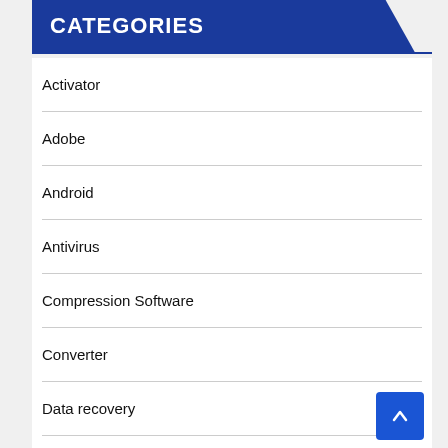CATEGORIES
Activator
Adobe
Android
Antivirus
Compression Software
Converter
Data recovery
Design and Drafting software